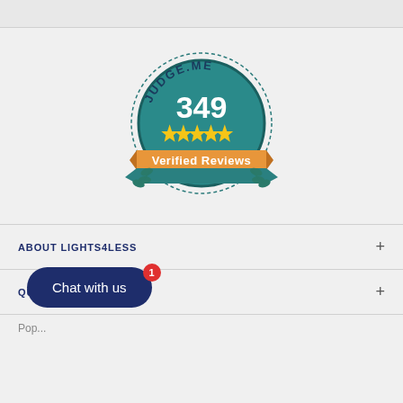[Figure (logo): Judge.me badge showing 349 verified reviews with 5 stars rating, teal/dark teal circular badge with yellow stars and orange ribbon banner]
ABOUT LIGHTS4LESS
QUICK LINKS
Pop...
[Figure (other): Chat with us button (dark navy blue pill-shaped button) with red notification badge showing 1]